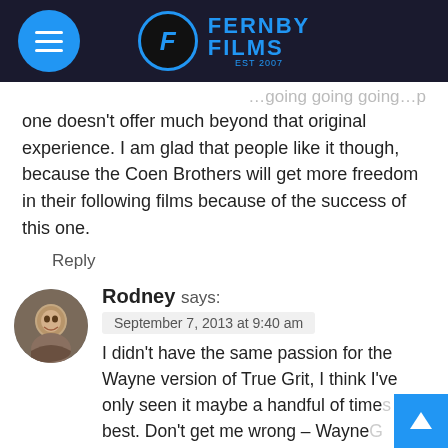Fernby Films
one doesn't offer much beyond that original experience. I am glad that people like it though, because the Coen Brothers will get more freedom in their following films because of the success of this one.
Reply
[Figure (photo): Avatar photo of Rodney, a man with short hair]
Rodney says:
September 7, 2013 at 9:40 am
I didn't have the same passion for the Wayne version of True Grit, I think I've only seen it maybe a handful of time best. Don't get me wrong – WayneG an awesome film, but this version is